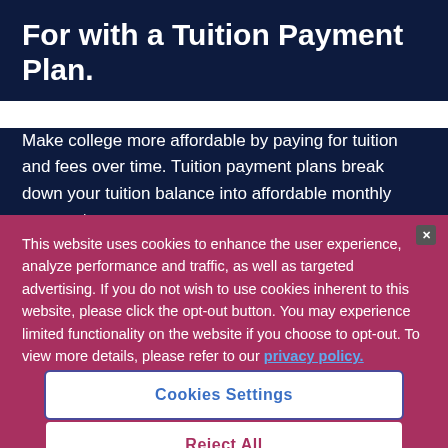For with a Tuition Payment Plan.
Make college more affordable by paying for tuition and fees over time. Tuition payment plans break down your tuition balance into affordable monthly payments.
This website uses cookies to enhance the user experience, analyze performance and traffic, as well as targeted advertising. If you do not wish to use cookies inherent to this website, please click the opt-out button. You may experience limited functionality on the website if you choose to opt-out. To view more details, please refer to our privacy policy.
Cookies Settings
Reject All